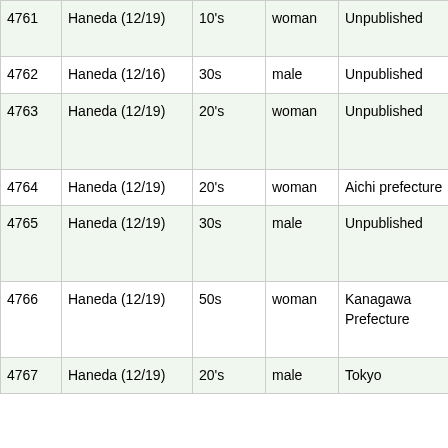| ID | Location (date) | Age | Sex | Residence | Nationality |
| --- | --- | --- | --- | --- | --- |
| 4761 | Haneda (12/19) | 10's | woman | Unpublished | State Ame… |
| 4762 | Haneda (12/16) | 30s | male | Unpublished | Spai… |
| 4763 | Haneda (12/19) | 20's | woman | Unpublished | United State Ame… |
| 4764 | Haneda (12/19) | 20's | woman | Aichi prefecture | Engl… |
| 4765 | Haneda (12/19) | 30s | male | Unpublished | United State Ame… |
| 4766 | Haneda (12/19) | 50s | woman | Kanagawa Prefecture | United State Ame… |
| 4767 | Haneda (12/19) | 20's | male | Tokyo | Engl… |